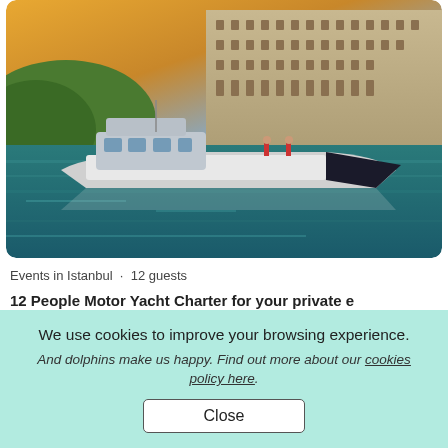[Figure (photo): A white motor yacht on blue-green water with a grand historical building and golden sunset sky in the background. Two people standing on the deck of the yacht.]
Events in Istanbul  •  12 guests
12 People Motor Yacht Charter for your private e
We use cookies to improve your browsing experience.
And dolphins make us happy. Find out more about our cookies policy here.
Close